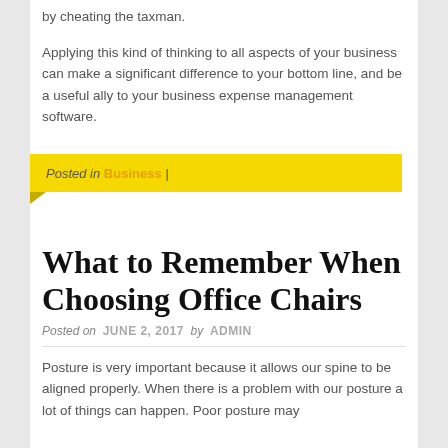by cheating the taxman.
Applying this kind of thinking to all aspects of your business can make a significant difference to your bottom line, and be a useful ally to your business expense management software.
Posted in Business |
What to Remember When Choosing Office Chairs
Posted on JUNE 2, 2017 by ADMIN
Posture is very important because it allows our spine to be aligned properly. When there is a problem with our posture a lot of things can happen. Poor posture may